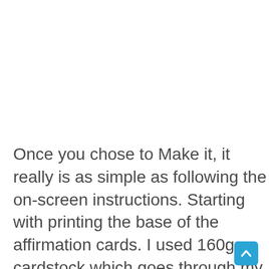Once you chose to Make it, it really is as simple as following the on-screen instructions. Starting with printing the base of the affirmation cards. I used 160gsm cardstock which goes through my printer and is a good weight. I print on best with bleed.
[Figure (photo): Bottom portion showing an Epson printer in dark/grey tones with an EPSON label visible and a blue scroll-up button in the bottom right corner.]